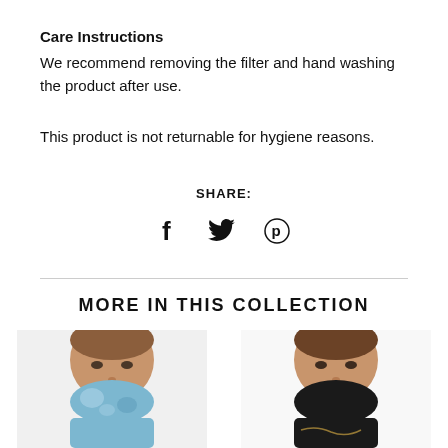Care Instructions
We recommend removing the filter and hand washing the product after use.
This product is not returnable for hygiene reasons.
SHARE:
[Figure (illustration): Social share icons: Facebook (f), Twitter (bird), Pinterest (p)]
MORE IN THIS COLLECTION
[Figure (photo): Woman wearing a blue tie-dye face covering/neck gaiter, cropped at face level]
[Figure (photo): Woman wearing a black face covering/neck gaiter, cropped at face level]